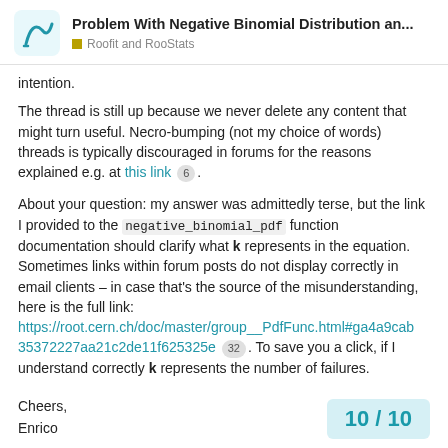Problem With Negative Binomial Distribution an... | Roofit and RooStats
intention.
The thread is still up because we never delete any content that might turn useful. Necro-bumping (not my choice of words) threads is typically discouraged in forums for the reasons explained e.g. at this link 6 .
About your question: my answer was admittedly terse, but the link I provided to the negative_binomial_pdf function documentation should clarify what k represents in the equation. Sometimes links within forum posts do not display correctly in email clients – in case that's the source of the misunderstanding, here is the full link: https://root.cern.ch/doc/master/group__PdfFunc.html#ga4a9cab35372227aa21c2de11f625325e 32 . To save you a click, if I understand correctly k represents the number of failures.
Cheers,
Enrico
10 / 10